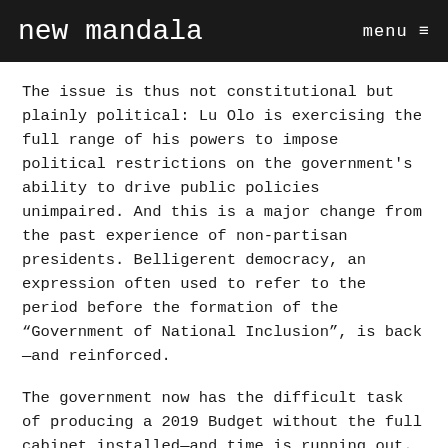new mandala   menu
The issue is thus not constitutional but plainly political: Lu Olo is exercising the full range of his powers to impose political restrictions on the government’s ability to drive public policies unimpaired. And this is a major change from the past experience of non-partisan presidents. Belligerent democracy, an expression often used to refer to the period before the formation of the “Government of National Inclusion”, is back—and reinforced.
The government now has the difficult task of producing a 2019 Budget without the full cabinet installed—and time is running out. While a 2018 Budget has at last been passed